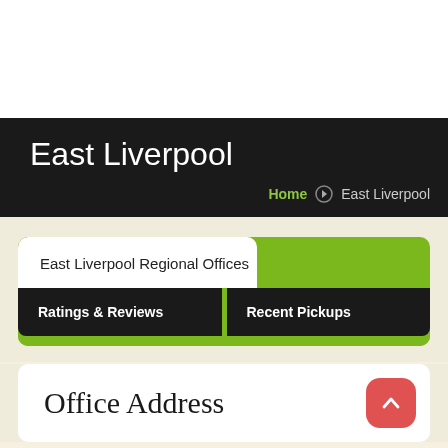East Liverpool
Home > East Liverpool
East Liverpool Regional Offices
Ratings & Reviews
Recent Pickups
Office Address